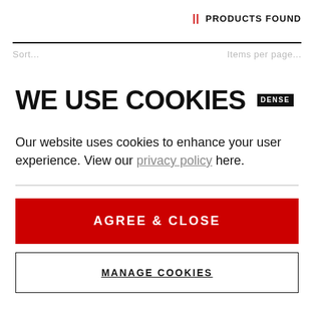|| PRODUCTS FOUND
WE USE COOKIES DENSE
Our website uses cookies to enhance your user experience. View our privacy policy here.
AGREE & CLOSE
MANAGE COOKIES